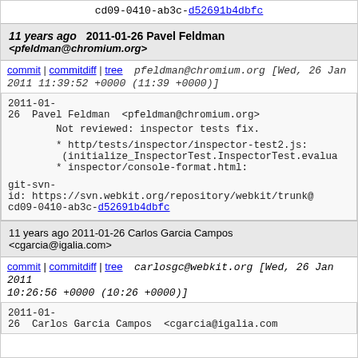cd09-0410-ab3c-d52691b4dbfc
11 years ago   2011-01-26 Pavel Feldman <pfeldman@chromium.org>
commit | commitdiff | tree   pfeldman@chromium.org [Wed, 26 Jan 2011 11:39:52 +0000 (11:39 +0000)]
2011-01-26  Pavel Feldman  <pfeldman@chromium.org>

    Not reviewed: inspector tests fix.

    * http/tests/inspector/inspector-test2.js: (initialize_InspectorTest.InspectorTest.evalua
    * inspector/console-format.html:

git-svn-id: https://svn.webkit.org/repository/webkit/trunk@
cd09-0410-ab3c-d52691b4dbfc
11 years ago   2011-01-26 Carlos Garcia Campos <cgarcia@igalia.com>
commit | commitdiff | tree   carlosgc@webkit.org [Wed, 26 Jan 2011 10:26:56 +0000 (10:26 +0000)]
2011-01-26  Carlos Garcia Campos  <cgarcia@igalia.com>